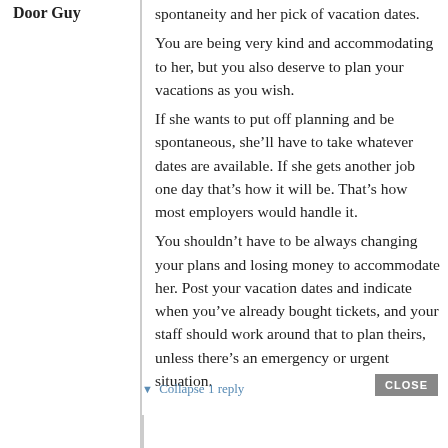spontaneity and her pick of vacation dates.
You are being very kind and accommodating to her, but you also deserve to plan your vacations as you wish.
If she wants to put off planning and be spontaneous, she’ll have to take whatever dates are available. If she gets another job one day that’s how it will be. That’s how most employers would handle it.
You shouldn’t have to be always changing your plans and losing money to accommodate her. Post your vacation dates and indicate when you’ve already bought tickets, and your staff should work around that to plan theirs, unless there’s an emergency or urgent situation.
▼ Collapse 1 reply
CLOSE
Door Guy